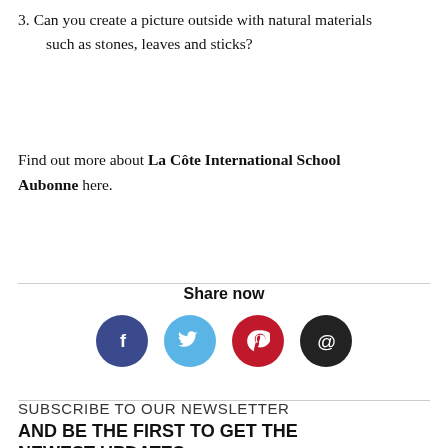3. Can you create a picture outside with natural materials such as stones, leaves and sticks?
Find out more about La Côte International School Aubonne here.
Share now
[Figure (infographic): Four social media share buttons: Facebook (dark blue circle with f), Twitter (light blue circle with bird icon), Pinterest (red circle with p), Email (black circle with @ symbol)]
SUBSCRIBE TO OUR NEWSLETTER
AND BE THE FIRST TO GET THE NEWEST UPDATES